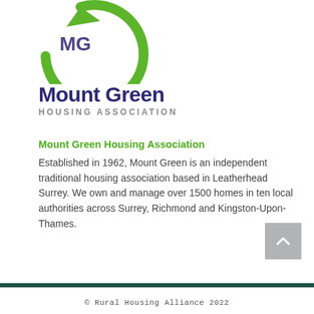[Figure (logo): Mount Green Housing Association logo: green circular arrow with dark text 'MHb' partially visible, green swoosh element]
Mount Green
HOUSING ASSOCIATION
Mount Green Housing Association
Established in 1962, Mount Green is an independent traditional housing association based in Leatherhead Surrey. We own and manage over 1500 homes in ten local authorities across Surrey, Richmond and Kingston-Upon-Thames.
© Rural Housing Alliance 2022